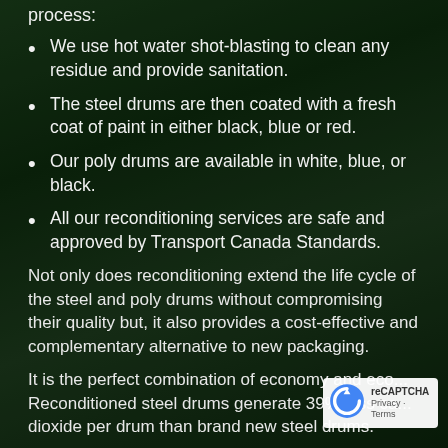process:
We use hot water shot-blasting to clean any residue and provide sanitation.
The steel drums are then coated with a fresh coat of paint in either black, blue or red.
Our poly drums are available in white, blue, or black.
All our reconditioning services are safe and approved by Transport Canada Standards.
Not only does reconditioning extend the life cycle of the steel and poly drums without compromising their quality but, it also provides a cost-effective and complementary alternative to new packaging.
It is the perfect combination of economy and eco... Reconditioned steel drums generate 39% less ca... dioxide per drum than brand new steel drums.